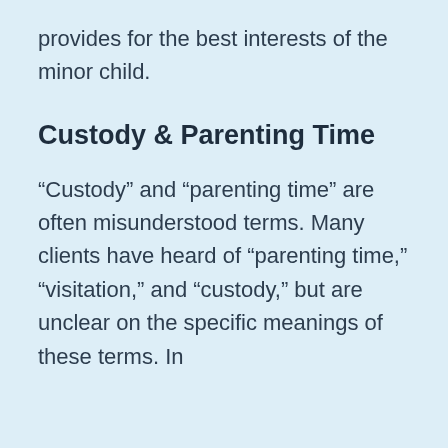provides for the best interests of the minor child.
Custody & Parenting Time
“Custody” and “parenting time” are often misunderstood terms. Many clients have heard of “parenting time,” “visitation,” and “custody,” but are unclear on the specific meanings of these terms. In